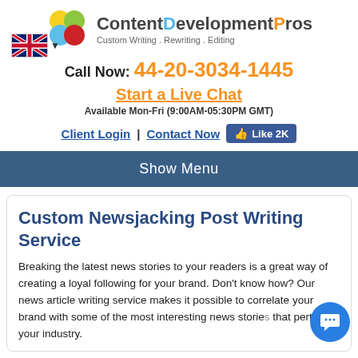[Figure (logo): ContentDevelopmentPros logo with four colored circles (yellow, green, blue, red) and text 'ContentDevelopmentPros - Custom Writing . Rewriting . Editing']
Call Now: 44-20-3034-1445
Start a Live Chat
Available Mon-Fri (9:00AM-05:30PM GMT)
Client Login | Contact Now  Like 2K
Show Menu
Custom Newsjacking Post Writing Service
Breaking the latest news stories to your readers is a great way of creating a loyal following for your brand. Don't know how? Our news article writing service makes it possible to correlate your brand with some of the most interesting news stories that pertain to your industry.